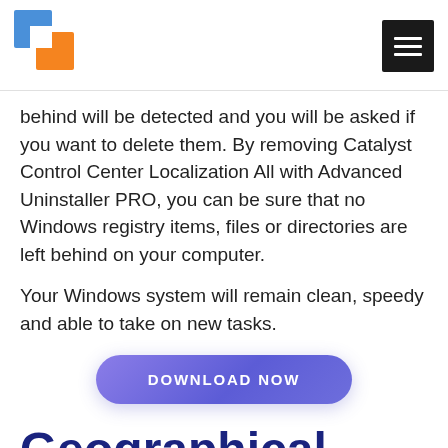[Figure (logo): Software informer / Advanced Uninstaller PRO logo with blue and orange squares]
behind will be detected and you will be asked if you want to delete them. By removing Catalyst Control Center Localization All with Advanced Uninstaller PRO, you can be sure that no Windows registry items, files or directories are left behind on your computer.
Your Windows system will remain clean, speedy and able to take on new tasks.
[Figure (other): DOWNLOAD NOW button with purple/blue rounded rectangle background]
Geographical user